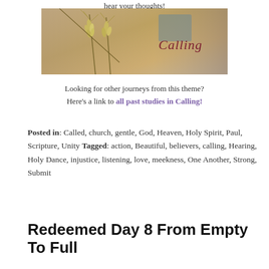hear your thoughts!
[Figure (photo): Photo of wheat stalks with cursive text 'Calling' overlaid on the right side, warm golden tones]
Looking for other journeys from this theme? Here's a link to all past studies in Calling!
Posted in: Called, church, gentle, God, Heaven, Holy Spirit, Paul, Scripture, Unity Tagged: action, Beautiful, believers, calling, Hearing, Holy Dance, injustice, listening, love, meekness, One Another, Strong, Submit
Redeemed Day 8 From Empty To Full